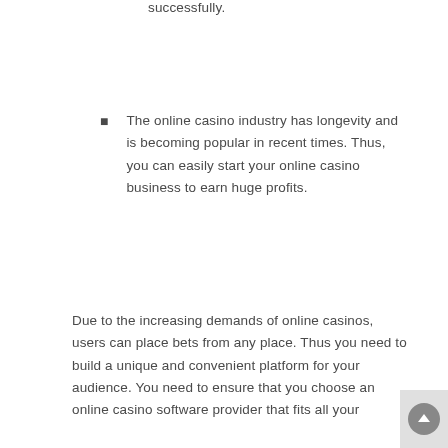successfully.
The online casino industry has longevity and is becoming popular in recent times. Thus, you can easily start your online casino business to earn huge profits.
Due to the increasing demands of online casinos, users can place bets from any place. Thus you need to build a unique and convenient platform for your audience. You need to ensure that you choose an online casino software provider that fits all your